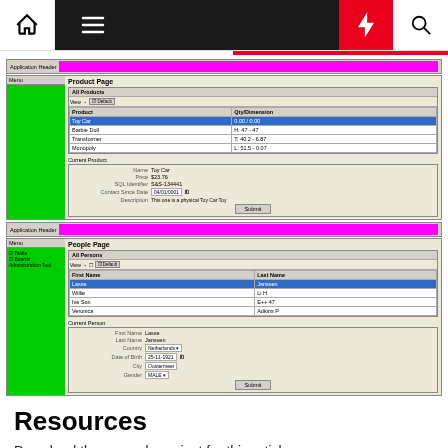[Figure (screenshot): Navigation bar with home icon, hamburger menu (dark background), lightning bolt (red background), and search icon]
[Figure (screenshot): Application UI screenshot showing Product Page with All Products list (Toy Car, Barbie Doll, Transformer, Monopoly) and Current Product detail form with fields: Name (Toy Car), Price ($23.76), SQL Identifier, Contact Since Date, Description, and Submit button]
[Figure (screenshot): Application UI screenshot showing People Page with All Persons list and Current Person detail form with fields: First Name (Lasse), Last Name (Janssen), Country (Netherlands), Date of Birth, City (Oostermeer), Gender (MALE), and Submit button]
Resources
Download the example project for this article: MultiTemplateApp.zip.